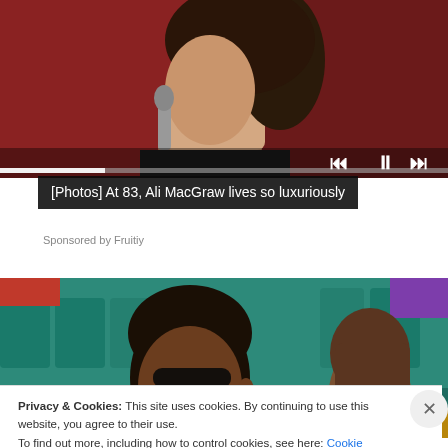[Figure (photo): Top portion of a video player showing a person wearing a neck collar and black clothing, against a dark red background, with a microphone visible. Media player controls (skip back, pause, skip forward) are shown in the overlay.]
[Photos] At 83, Ali MacGraw lives so luxuriously
Sponsored by Fruitiy
[Figure (photo): A man wearing sunglasses with dark hair sits in what appears to be stadium seating with teal/green chairs. A woman with brown hair is visible to the right. A red fabric is visible in the upper-left corner. A wooden railing is in the foreground.]
Privacy & Cookies: This site uses cookies. By continuing to use this website, you agree to their use.
To find out more, including how to control cookies, see here: Cookie Policy